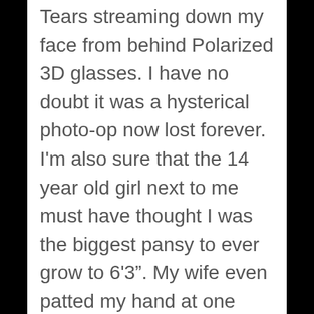Tears streaming down my face from behind Polarized 3D glasses. I have no doubt it was a hysterical photo-op now lost forever. I'm also sure that the 14 year old girl next to me must have thought I was the biggest pansy to ever grow to 6'3". My wife even patted my hand at one point like I was a five-year old. I'm sure seeing me blubber at 3D animation made her want me like never before…
And I don't care. I'll see it again. Probably cry then too, no matter if it's 2D, SD, or iPod. Once a film gets